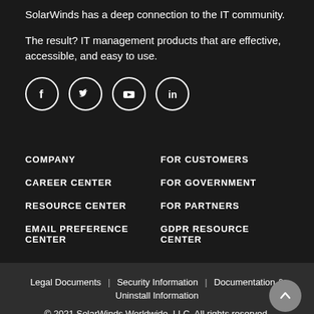SolarWinds has a deep connection to the IT community.
The result? IT management products that are effective, accessible, and easy to use.
[Figure (illustration): Four social media icons in circles: Facebook (f), Twitter (bird), YouTube (play button), LinkedIn (in)]
COMPANY
FOR CUSTOMERS
CAREER CENTER
FOR GOVERNMENT
RESOURCE CENTER
FOR PARTNERS
EMAIL PREFERENCE CENTER
GDPR RESOURCE CENTER
Legal Documents | Security Information | Documentation & Uninstall Information
© 2021 SolarWinds Worldwide, LLC. All rights reserved.